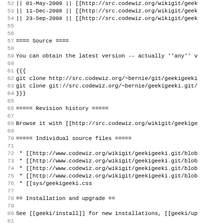52 || 01-May-2009 || [[http://src.codewiz.org/wikigit/geek
53 || 11-Dec-2008 || [[http://src.codewiz.org/wikigit/geek
54 || 23-Sep-2008 || [[http://src.codewiz.org/wikigit/geek
55
56
57 ==== Source ====
58
59 You can obtain the latest version -- actually ''any'' v
60
61 {{{
62 git clone http://src.codewiz.org/~bernie/git/geekigeeki
63 git clone git://src.codewiz.org/~bernie/geekigeeki.git/
64 }}}
65
66 ===== Revision history =====
67
68 Browse it with [[http://src.codewiz.org/wikigit/geekige
69
70 ===== Individual source files =====
71
72  * [[http://www.codewiz.org/wikigit/geekigeeki.git/blob
73  * [[http://www.codewiz.org/wikigit/geekigeeki.git/blob
74  * [[http://www.codewiz.org/wikigit/geekigeeki.git/blob
75  * [[http://www.codewiz.org/wikigit/geekigeeki.git/blob
76  * [[sys/geekigeeki.css
77
78 == Installation and upgrade ==
79
80 See [[geeki/install]] for new installations, [[geeki/up
81
82 == Contributing ==
83